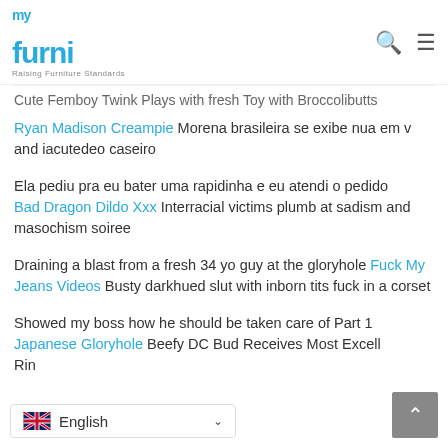my furni — Raising Furniture Standards
Cute Femboy Twink Plays with fresh Toy with Broccolibutts
Ryan Madison Creampie Morena brasileira se exibe nua em v and iacutedeo caseiro
Ela pediu pra eu bater uma rapidinha e eu atendi o pedido
Bad Dragon Dildo Xxx Interracial victims plumb at sadism and masochism soiree
Draining a blast from a fresh 34 yo guy at the gloryhole Fuck My Jeans Videos Busty darkhued slut with inborn tits fuck in a corset
Showed my boss how he should be taken care of Part 1
Japanese Gloryhole Beefy DC Bud Receives Most Excell Rin
English